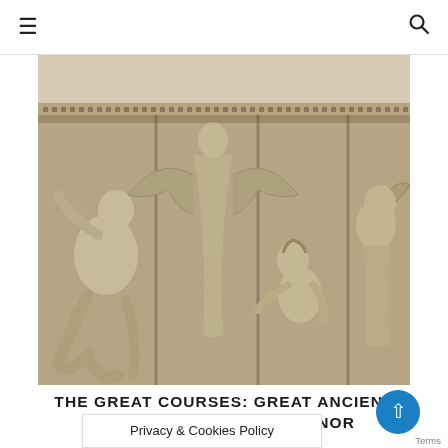≡  🔍
[Figure (photo): Ancient Greek or Roman stone relief sculpture showing winged figures (Nike/Victory goddesses) and warriors or giants in battle — appears to be from the Pergamon Altar or similar Hellenistic monument. The relief is carved in high relief showing muscular figures, wings, and dramatic poses. The stone is pale beige/cream colored.]
THE GREAT COURSES: GREAT ANCIENT CIVILIZATIONS OF ASIA MINOR
Privacy & Cookies Policy